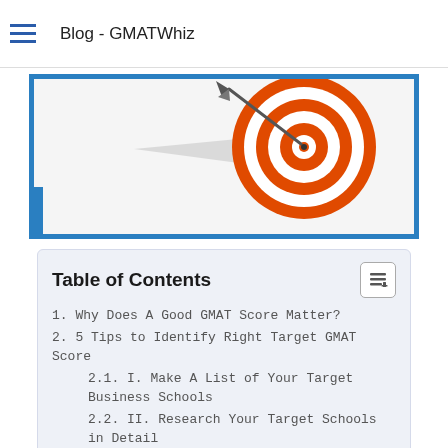Blog - GMATWhiz
[Figure (illustration): Dart hitting the bullseye of a target/dartboard, with concentric orange and white rings. A grey dart with arrow is shown mid-flight hitting the center. Blue border frame around the image.]
Table of Contents
1. Why Does A Good GMAT Score Matter?
2. 5 Tips to Identify Right Target GMAT Score
2.1. I. Make A List of Your Target Business Schools
2.2. II. Research Your Target Schools in Detail
2.3. III. Evaluate your profile
2.4. IV. Arrive at A Target GMAT Score